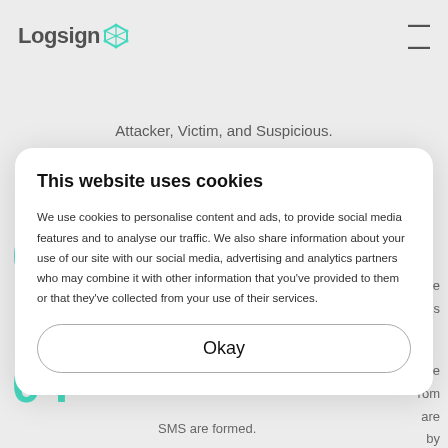Logsign
Attacker, Victim, and Suspicious.
03
04
[Figure (screenshot): Cookie consent modal overlay on Logsign website. Modal contains title 'This website uses cookies', body text about cookie usage and data sharing, and an 'Okay' button.]
This website uses cookies
We use cookies to personalise content and ads, to provide social media features and to analyse our traffic. We also share information about your use of our site with our social media, advertising and analytics partners who may combine it with other information that you've provided to them or that they've collected from your use of their services.
Okay
SMS are formed.